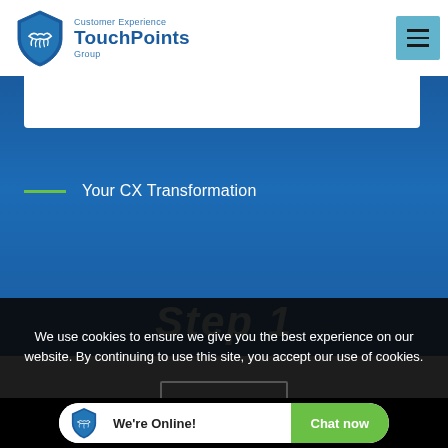[Figure (logo): Customer Experience TouchPoints Group logo — shield icon with handshake, company name in blue]
[Figure (screenshot): Hamburger menu button (three horizontal lines) on a light blue square background]
[Figure (screenshot): Blue gradient hero section with white card overlay and 'Your CX Transformation' text with green underline, and partially visible 'Step 1' heading in italic white]
We use cookies to ensure we give you the best experience on our website. By continuing to use this site, you accept our use of cookies.
[Figure (screenshot): Chat widget bar showing shield logo, 'We're Online!' text, and 'Chat now' green button]